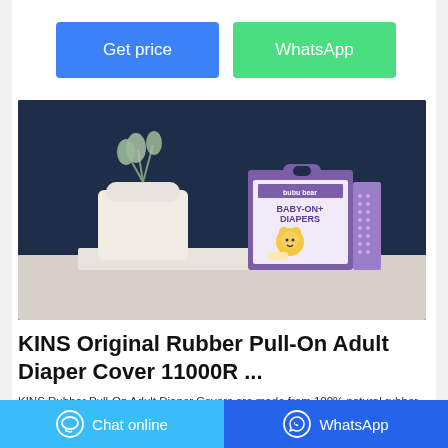Get price
WhatsApp
[Figure (photo): Product photo of BABY-ON+ DIAPERS (bubu bear brand) purple box with a cartoon bear character, placed on a white surface next to a white vase with plants, dark blue background.]
KINS Original Rubber Pull-On Adult Diaper Cover 11000R ...
KINS Rubber Pull-On Adult Diaper Covers are made from 100% natural rubber. They are
Chat online
WhatsApp